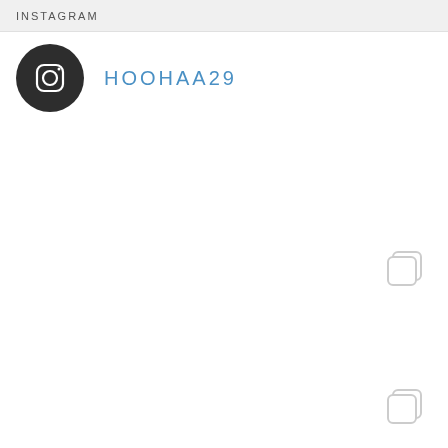INSTAGRAM
[Figure (logo): Instagram camera icon in dark circle]
HOOHAA29
[Figure (illustration): Instagram multiple images icon, light gray, top-right area]
[Figure (illustration): Instagram multiple images icon, light gray, bottom-right area]